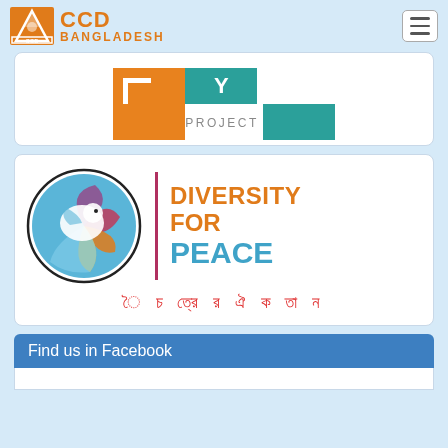CCD BANGLADESH
[Figure (logo): Partial view of a project logo with orange square block and teal/green square block with letter Y, and text PROJECT]
[Figure (logo): Diversity for Peace logo with a colorful bird/dove made of swirling colors (blue, red/pink, orange, yellow) inside a circle, vertical red line divider, text DIVERSITY FOR PEACE in orange and blue, and Bengali script below in red]
Find us in Facebook